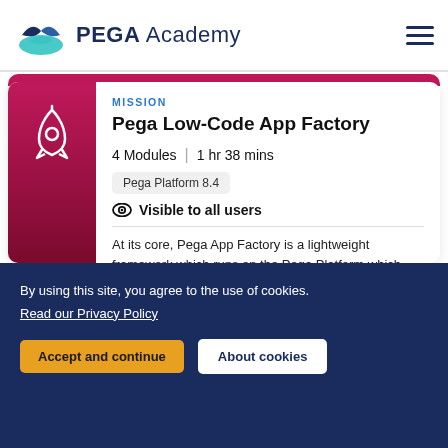PEGA Academy
MISSION
Pega Low-Code App Factory
4 Modules | 1 hr 38 mins
Pega Platform 8.4
Visible to all users
At its core, Pega App Factory is a lightweight framework which runs on the Pega Platform which enables repeatable low-code development success in App...
By using this site, you agree to the use of cookies. Read our Privacy Policy
Accept and continue
About cookies